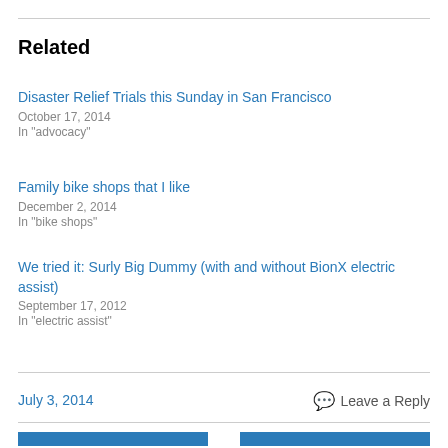Related
Disaster Relief Trials this Sunday in San Francisco
October 17, 2014
In "advocacy"
Family bike shops that I like
December 2, 2014
In "bike shops"
We tried it: Surly Big Dummy (with and without BionX electric assist)
September 17, 2012
In "electric assist"
July 3, 2014    Leave a Reply